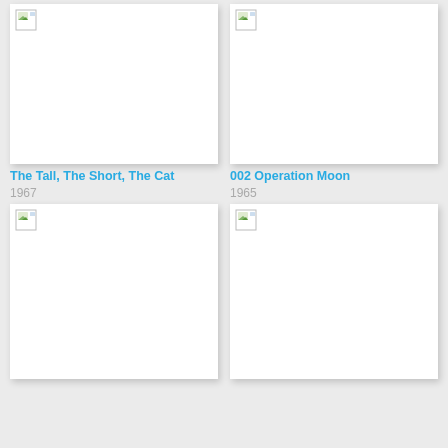[Figure (photo): Movie poster placeholder (broken image) for The Tall, The Short, The Cat]
The Tall, The Short, The Cat
1967
[Figure (photo): Movie poster placeholder (broken image) for 002 Operation Moon]
002 Operation Moon
1965
[Figure (photo): Movie poster placeholder (broken image) - bottom left]
[Figure (photo): Movie poster placeholder (broken image) - bottom right]